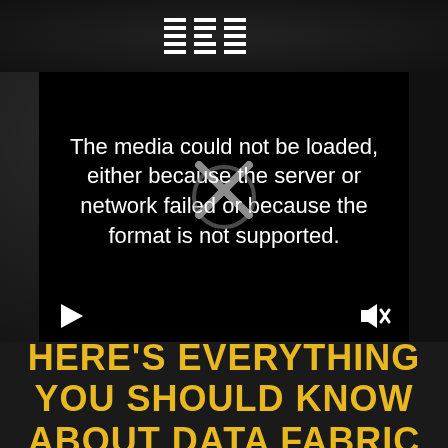[Figure (logo): IBM logo in white striped style at top of dark textured background]
[Figure (screenshot): Video player showing media load error: 'The media could not be loaded, either because the server or network failed or because the format is not supported.' with X icon overlay and playback controls (play button on left, muted speaker on right).]
HERE'S EVERYTHING YOU SHOULD KNOW ABOUT DATA FABRIC